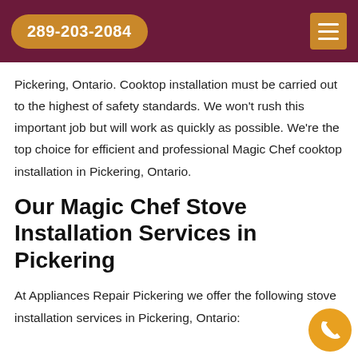289-203-2084
Pickering, Ontario. Cooktop installation must be carried out to the highest of safety standards. We won't rush this important job but will work as quickly as possible. We're the top choice for efficient and professional Magic Chef cooktop installation in Pickering, Ontario.
Our Magic Chef Stove Installation Services in Pickering
At Appliances Repair Pickering we offer the following stove installation services in Pickering, Ontario: